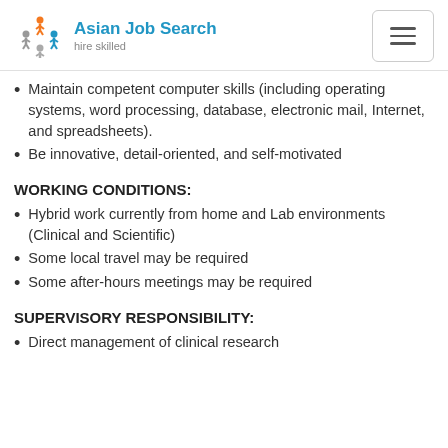Asian Job Search — hire skilled
Maintain competent computer skills (including operating systems, word processing, database, electronic mail, Internet, and spreadsheets).
Be innovative, detail-oriented, and self-motivated
WORKING CONDITIONS:
Hybrid work currently from home and Lab environments (Clinical and Scientific)
Some local travel may be required
Some after-hours meetings may be required
SUPERVISORY RESPONSIBILITY:
Direct management of clinical research